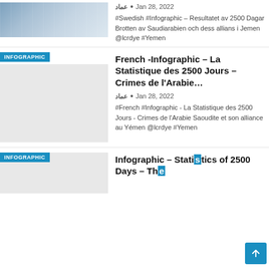[Figure (photo): Thumbnail image of an infographic document about Swedish/Saudiarabia Yemen crimes]
عماد • Jan 28, 2022
#Swedish #Infographic – Resultatet av 2500 Dagar Brotten av Saudiarabien och dess allians i Jemen @lcrdye #Yemen
[Figure (photo): Thumbnail image placeholder with INFOGRAPHIC badge for French infographic article]
French -Infographic – La Statistique des 2500 Jours – Crimes de l'Arabie…
عماد • Jan 28, 2022
#French #Infographic - La Statistique des 2500 Jours - Crimes de l'Arabie Saoudite et son alliance au Yémen @lcrdye #Yemen
[Figure (photo): Thumbnail image placeholder with INFOGRAPHIC badge for English infographic article]
Infographic – Statistics of 2500 Days – The…